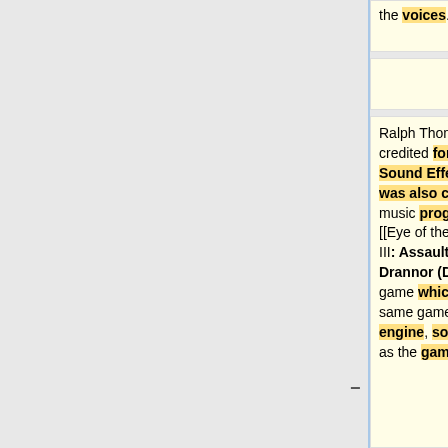the voices.
Ralph Thomas is credited for Digital Sound Effects, but he was also credited for music programming in [[Eye of the Beholder III: Assault on Myth Drannor (DOS)]], a game which uses the same game and sound engine, so he is listed as the game's sound
Because [[Ralph Thomas]] is credited as a music programmer in Eye of the Beholder III, a game that uses the same game and sound engines, he is listed as the sound programmer. However, the credits list him for Digital Sound Effects. Ralph also stated that he